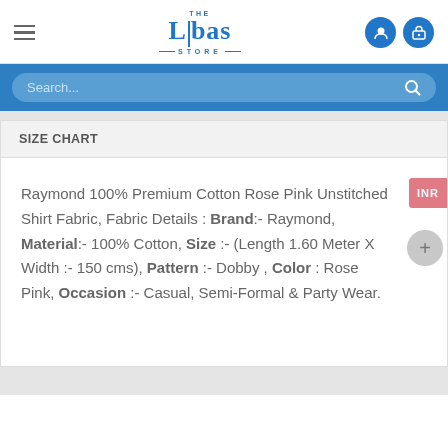[Figure (logo): The Libas Store logo in blue with hamburger menu and icon buttons]
Search...
SIZE CHART
Raymond 100% Premium Cotton Rose Pink Unstitched Shirt Fabric, Fabric Details : Brand:- Raymond, Material:- 100% Cotton, Size :- (Length 1.60 Meter X Width :- 150 cms), Pattern :- Dobby , Color : Rose Pink, Occasion :- Casual, Semi-Formal & Party Wear.